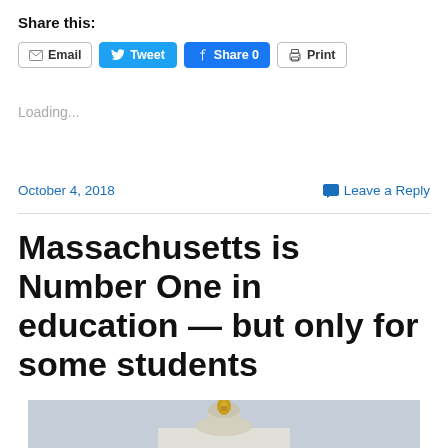Share this:
[Figure (screenshot): Social sharing buttons row: Email, Tweet, Share 0, Print]
Loading...
October 4, 2018
Leave a Reply
Massachusetts is Number One in education — but only for some students
[Figure (photo): Partial photo of a building with a gold dome, gray sky background, cropped at bottom of page]